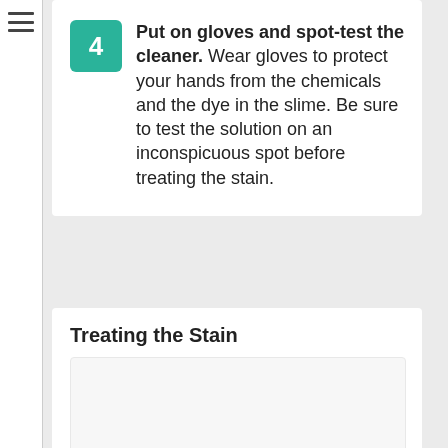4 Put on gloves and spot-test the cleaner. Wear gloves to protect your hands from the chemicals and the dye in the slime. Be sure to test the solution on an inconspicuous spot before treating the stain.
Treating the Stain